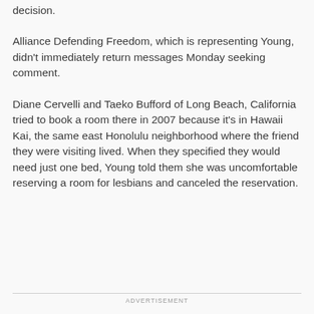decision.
Alliance Defending Freedom, which is representing Young, didn’t immediately return messages Monday seeking comment.
Diane Cervelli and Taeko Bufford of Long Beach, California tried to book a room there in 2007 because it’s in Hawaii Kai, the same east Honolulu neighborhood where the friend they were visiting lived. When they specified they would need just one bed, Young told them she was uncomfortable reserving a room for lesbians and canceled the reservation.
ADVERTISEMENT